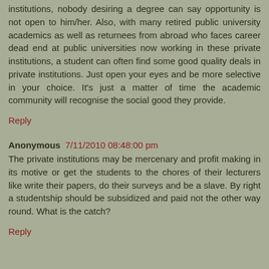institutions, nobody desiring a degree can say opportunity is not open to him/her. Also, with many retired public university academics as well as returnees from abroad who faces career dead end at public universities now working in these private institutions, a student can often find some good quality deals in private institutions. Just open your eyes and be more selective in your choice. It's just a matter of time the academic community will recognise the social good they provide.
Reply
Anonymous 7/11/2010 08:48:00 pm
The private institutions may be mercenary and profit making in its motive or get the students to the chores of their lecturers like write their papers, do their surveys and be a slave. By right a studentship should be subsidized and paid not the other way round. What is the catch?
Reply